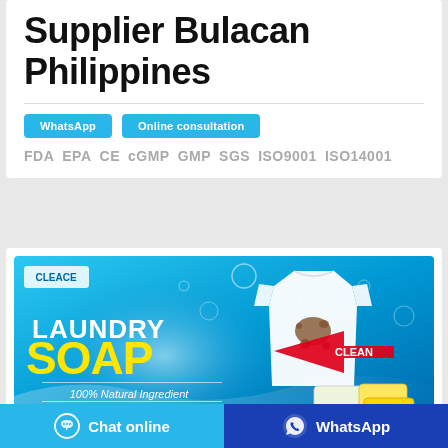Supplier Bulacan Philippines
WhatsApp   Online consultation
FDA  EPA  CE  cGMP  GMP  SGS  ISO9001  ISO14001
[Figure (illustration): Laundry Soap advertisement banner featuring a white t-shirt with a brown stain and a red arrow labeled CLEAN, yellow soap bars, bubbles, text reading LAUNDRY SOAP, 100% Natural Ingredient, with checkmarks for Protect clothes fabric, 100% Natural Ingredient, Remove stains]
Chat online   WhatsApp